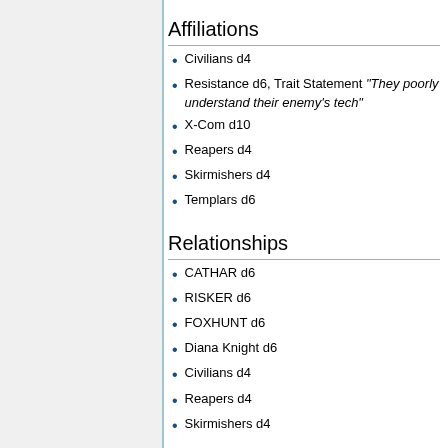Affiliations
Civilians d4
Resistance d6, Trait Statement "They poorly understand their enemy's tech"
X-Com d10
Reapers d4
Skirmishers d4
Templars d6
Relationships
CATHAR d6
RISKER d6
FOXHUNT d6
Diana Knight d6
Civilians d4
Reapers d4
Skirmishers d4